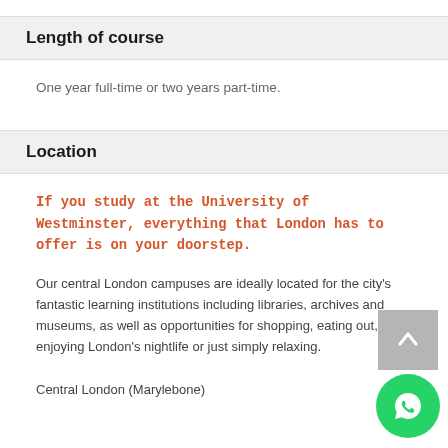Length of course
One year full-time or two years part-time.
Location
If you study at the University of Westminster, everything that London has to offer is on your doorstep.
Our central London campuses are ideally located for the city's fantastic learning institutions including libraries, archives and museums, as well as opportunities for shopping, eating out, enjoying London's nightlife or just simply relaxing.
Central London (Marylebone)